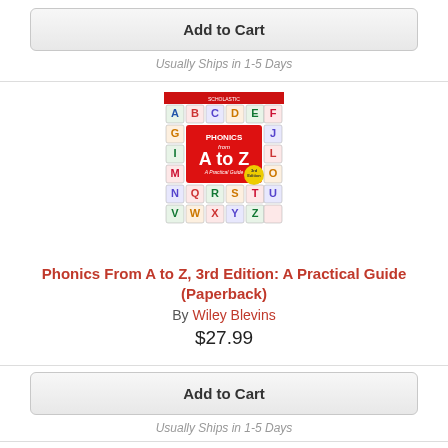Add to Cart
Usually Ships in 1-5 Days
[Figure (photo): Book cover of Phonics From A to Z, 3rd Edition: A Practical Guide by Wiley Blevins. Cover shows colorful alphabet blocks with letters A-Z arranged in a grid, featuring a large red center with 'PHONICS from A to Z' and 'A Practical Guide'. Yellow badge shows '3rd Edition'.]
Phonics From A to Z, 3rd Edition: A Practical Guide (Paperback)
By Wiley Blevins
$27.99
Add to Cart
Usually Ships in 1-5 Days
[Figure (photo): Partial view of a book cover for Readers' Theater, showing colorful text and images at bottom of page.]